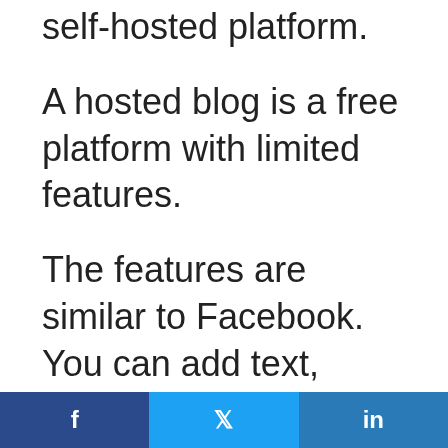self-hosted platform.
A hosted blog is a free platform with limited features.
The features are similar to Facebook. You can add text, images, and videos to a post.
It will be more difficult to brand your blog using a hosted platform due to the